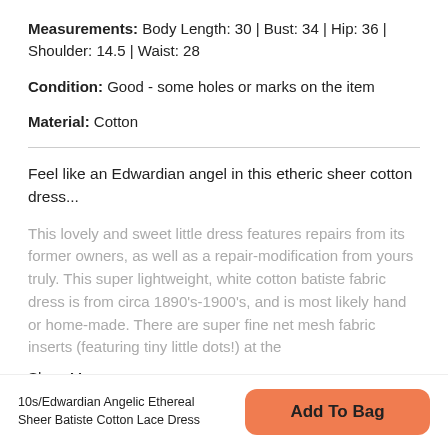Measurements: Body Length: 30 | Bust: 34 | Hip: 36 | Shoulder: 14.5 | Waist: 28
Condition: Good - some holes or marks on the item
Material: Cotton
Feel like an Edwardian angel in this etheric sheer cotton dress...
This lovely and sweet little dress features repairs from its former owners, as well as a repair-modification from yours truly. This super lightweight, white cotton batiste fabric dress is from circa 1890's-1900's, and is most likely hand or home-made. There are super fine net mesh fabric inserts (featuring tiny little dots!) at the
Show More
10s/Edwardian Angelic Ethereal Sheer Batiste Cotton Lace Dress
Add To Bag